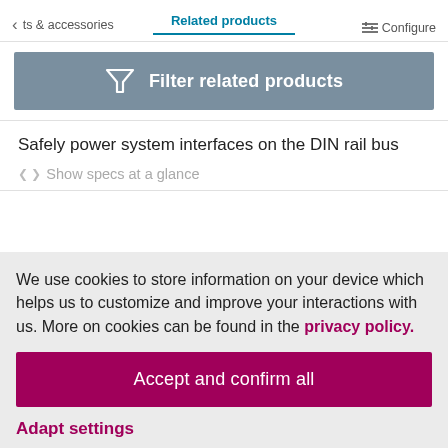ts & accessories   Related products   Configure
[Figure (infographic): Filter related products button with funnel/filter icon on grey-blue background]
Safely power system interfaces on the DIN rail bus
Show specs at a glance
We use cookies to store information on your device which helps us to customize and improve your interactions with us. More on cookies can be found in the privacy policy.
Accept and confirm all
Adapt settings